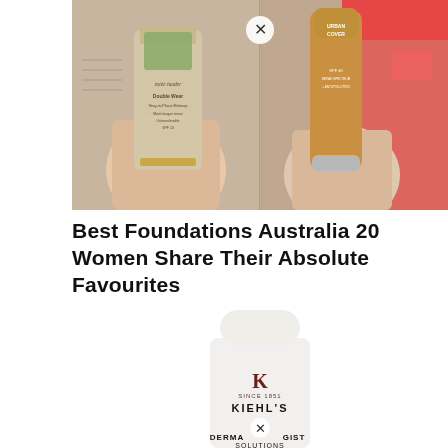[Figure (photo): Two hands holding foundation bottles — left: Estée Lauder Double Wear Stay-in-Place Makeup SPF 10, right: Urban Cover foundation SPF 40. Side-by-side product comparison photo.]
Best Foundations Australia 20 Women Share Their Absolute Favourites
[Figure (photo): White bottle of Kiehl's Dermatologist Solutions product on white background, partially cropped at bottom. Kiehl's logo and text visible on bottle.]